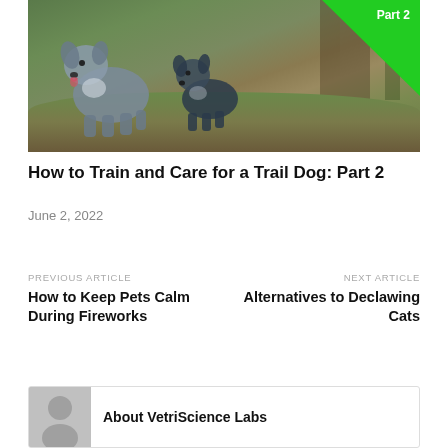[Figure (photo): Two Australian Shepherd dogs standing on a mossy rock in a forest, with a green badge overlay showing 'Part 2' in the upper right corner]
How to Train and Care for a Trail Dog: Part 2
June 2, 2022
PREVIOUS ARTICLE
How to Keep Pets Calm During Fireworks
NEXT ARTICLE
Alternatives to Declawing Cats
About VetriScience Labs